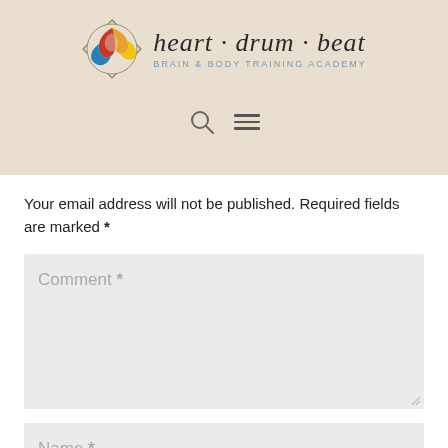[Figure (logo): Heart Drum Beat Brain & Body Training Academy logo with circular swirl icon in orange, red, blue, and yellow colors]
Your email address will not be published. Required fields are marked *
Comment *
Name *